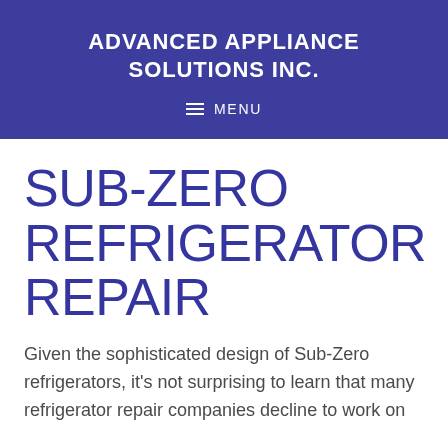ADVANCED APPLIANCE SOLUTIONS INC.
≡ MENU
SUB-ZERO REFRIGERATOR REPAIR
Given the sophisticated design of Sub-Zero refrigerators, it's not surprising to learn that many refrigerator repair companies decline to work on